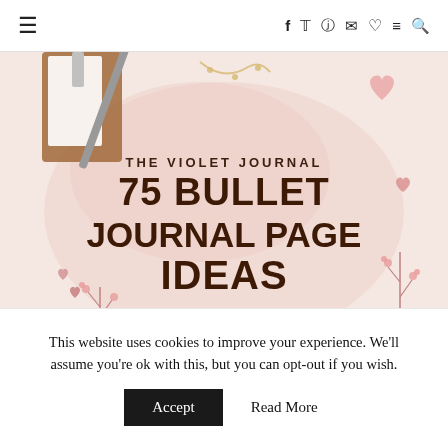☰   f  t  p  ✉  ♡  ≡  🔍
[Figure (illustration): Blog post cover image for 'The Violet Journal' showing a pink background with heart decorations, a notebook and pen, and bold text reading '75 BULLET JOURNAL PAGE IDEAS TO INSPIRE YOUR NEXT BUJO SPREAD']
This website uses cookies to improve your experience. We'll assume you're ok with this, but you can opt-out if you wish.
Accept   Read More